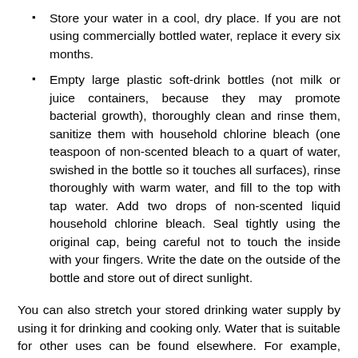Store your water in a cool, dry place. If you are not using commercially bottled water, replace it every six months.
Empty large plastic soft-drink bottles (not milk or juice containers, because they may promote bacterial growth), thoroughly clean and rinse them, sanitize them with household chlorine bleach (one teaspoon of non-scented bleach to a quart of water, swished in the bottle so it touches all surfaces), rinse thoroughly with warm water, and fill to the top with tap water. Add two drops of non-scented liquid household chlorine bleach. Seal tightly using the original cap, being careful not to touch the inside with your fingers. Write the date on the outside of the bottle and store out of direct sunlight.
You can also stretch your stored drinking water supply by using it for drinking and cooking only. Water that is suitable for other uses can be found elsewhere. For example, water collected from your downspout can be used for bathing. It does not have to be of the same high quality as your drinking water. This water can also be treated, as noted above and be used for general housekeeping. It can also be used to refill toilet tanks. Water from springs, lakes and snow melt can also be useful. It is extremely important